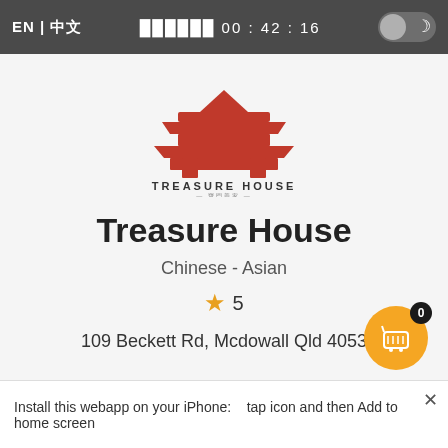EN | 中文  ██████ 00 : 42 : 16
[Figure (logo): Treasure House restaurant logo — red stylized Chinese pavilion/gate shape above the text TREASURE HOUSE with Chinese characters below]
Treasure House
Chinese  -  Asian
★ 5
109 Beckett Rd, Mcdowall Qld 4053
Install this webapp on your iPhone:   tap icon and then Add to home screen